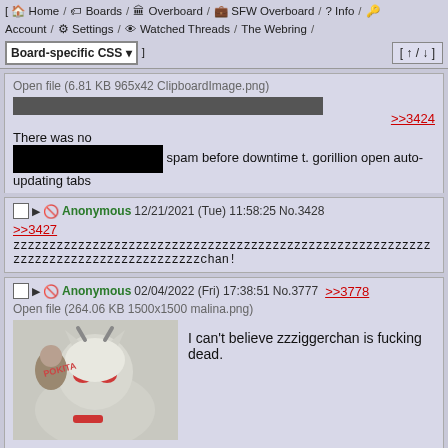[ Home / Boards / Overboard / SFW Overboard / Info / key ] Account / Settings / Watched Threads / The Webring / [ Board-specific CSS ] [ up / down ]
Open file (6.81 KB 965x42 ClipboardImage.png)
>>3424
There was no [redacted] spam before downtime t. gorillion open auto-updating tabs
Anonymous 12/21/2021 (Tue) 11:58:25 No.3428
>>3427
zzzzzzzzzzzzzzzzzzzzzzzzzzzzzzzzzzzzzzzzzzzzzzzzzzzzzzzzzz
zzzzzzzzzzzzzzzzzzzzzzzzzzchan!
Anonymous 02/04/2022 (Fri) 17:38:51 No.3777 >>3778
Open file (264.06 KB 1500x1500 malina.png)
I can't believe zzziggerchan is fucking dead.